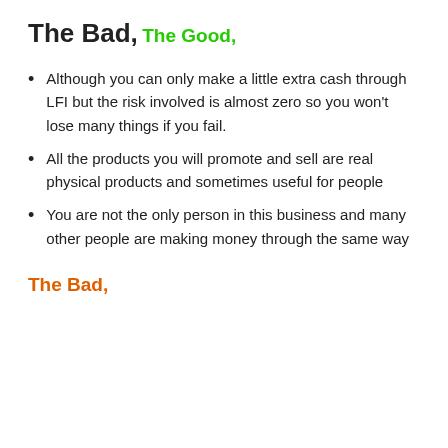The Bad,
The Good,
Although you can only make a little extra cash through LFI but the risk involved is almost zero so you won't lose many things if you fail.
All the products you will promote and sell are real physical products and sometimes useful for people
You are not the only person in this business and many other people are making money through the same way
The Bad,